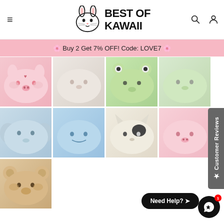BEST OF KAWAII
🌸 Buy 2 Get 7% OFF! Code: LOVE7 🌸
[Figure (photo): Grid of 9 kawaii plush animal toys in various colors: pink pig, white plush, green frog, light green, light blue elephant, sky blue, cream cat, pink pig, tan bear]
[Figure (other): Customer Reviews sidebar tab]
Need Help?